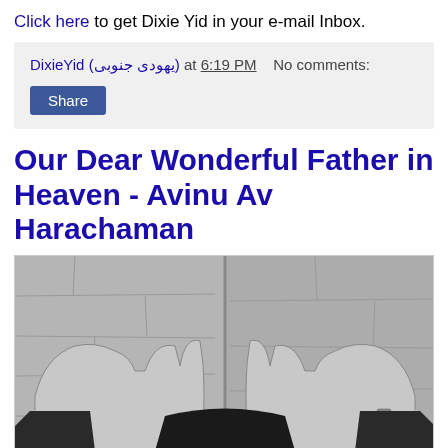Click here to get Dixie Yid in your e-mail Inbox.
DixieYid (یهودی جنوبی) at 6:19 PM   No comments:
Share
Our Dear Wonderful Father in Heaven - Avinu Av Harachaman
[Figure (photo): Black and white photograph of two hands pressed against a stone wall (Western Wall), arms outstretched from a person in a dark suit with white shirt cuffs visible, one arm has a watch.]